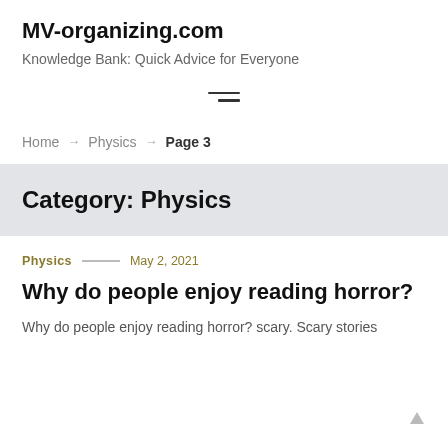MV-organizing.com
Knowledge Bank: Quick Advice for Everyone
[Figure (other): Hamburger menu icon — two horizontal lines of unequal length]
Home → Physics → Page 3
Category: Physics
Physics — May 2, 2021
Why do people enjoy reading horror?
Why do people enjoy reading horror? scary. Scary stories